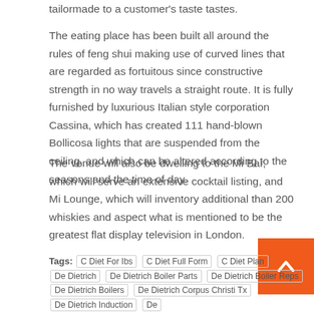tailormade to a customer's taste tastes.
The eating place has been built all around the rules of feng shui making use of curved lines that are regarded as fortuitous since constructive strength in no way travels a straight route. It is fully furnished by luxurious Italian style corporation Cassina, which has created 111 hand-blown Bollicosa lights that are suspended from the ceiling, and which can be altered according to the seasons and the time of day.
The venue will also be dwelling to the Mi Bar, which will serve an extensive cocktail listing, and Mi Lounge, which will inventory additional than 200 whiskies and aspect what is mentioned to be the greatest flat display television in London.
Tags: C Diet For Ibs  C Diet Full Form  C Diet Plan  De Dietrich  De Dietrich Boiler Parts  De Dietrich Boiler Reps  De Dietrich Boilers  De Dietrich Corpus Christi Tx  De Dietrich Induction  De